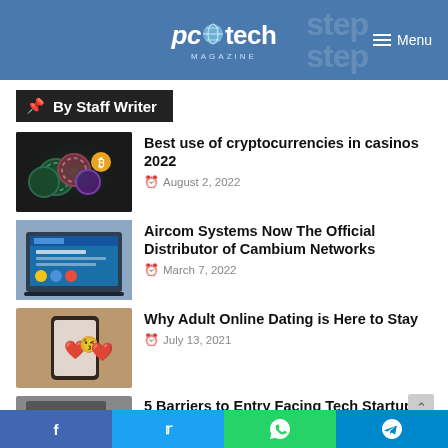pc tech magazine — Menu
By Staff Writer
Best use of cryptocurrencies in casinos 2022
August 2, 2022
Aircom Systems Now The Official Distributor of Cambium Networks
March 7, 2022
Why Adult Online Dating is Here to Stay
July 13, 2021
5 Barriers to Entry Facing Tech Startups
f  t  WhatsApp  Telegram